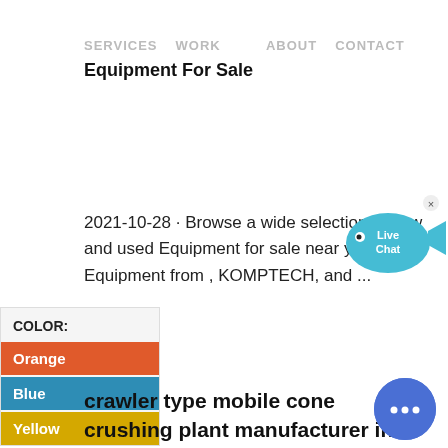SERVICES   WORK      ABOUT   CONTACT
Equipment For Sale
2021-10-28 · Browse a wide selection of new and used Equipment for sale near you at Find Equipment from , KOMPTECH, and ...
[Figure (illustration): Live Chat speech bubble icon with blue fish/chat icon and close button]
COLOR:
Orange
Blue
Yellow
crawler type mobile cone crushing plant manufacturer in ...
[Figure (illustration): Blue circular chat button with three dots]